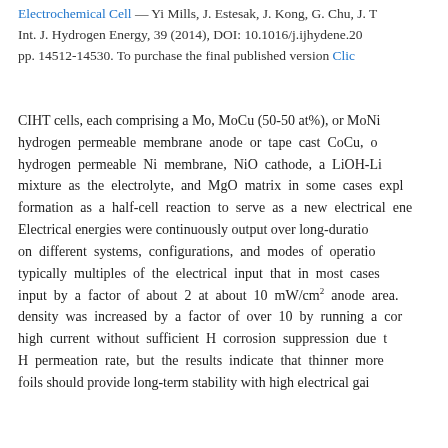Electrochemical Cell — Yi Mills, J. Estesak, J. Kong, G. Chu, J. ... Int. J. Hydrogen Energy, 39 (2014), DOI: 10.1016/j.ijhydene.20... pp. 14512-14530. To purchase the final published version Click
CIHT cells, each comprising a Mo, MoCu (50-50 at%), or MoNi hydrogen permeable membrane anode or tape cast CoCu, o... hydrogen permeable Ni membrane, NiO cathode, a LiOH-Li... mixture as the electrolyte, and MgO matrix in some cases expl... formation as a half-cell reaction to serve as a new electrical ene... Electrical energies were continuously output over long-duratio... on different systems, configurations, and modes of operatio... typically multiples of the electrical input that in most cases ... input by a factor of about 2 at about 10 mW/cm2 anode area. density was increased by a factor of over 10 by running a cor... high current without sufficient H corrosion suppression due t... H permeation rate, but the results indicate that thinner more ... foils should provide long-term stability with high electrical gai...